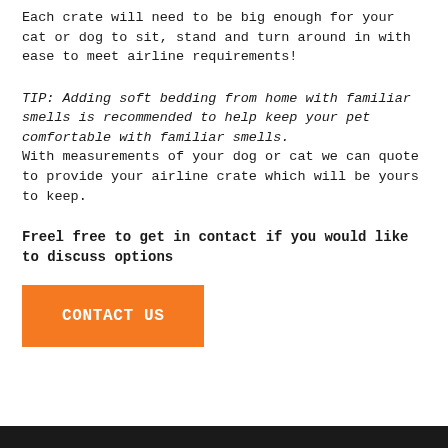Each crate will need to be big enough for your cat or dog to sit, stand and turn around in with ease to meet airline requirements!
TIP: Adding soft bedding from home with familiar smells is recommended to help keep your pet comfortable with familiar smells. With measurements of your dog or cat we can quote to provide your airline crate which will be yours to keep.
Freel free to get in contact if you would like to discuss options
[Figure (other): Orange button labeled CONTACT US]